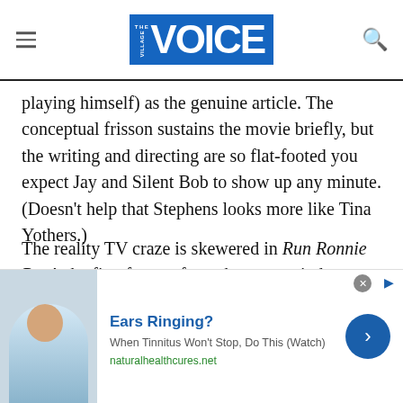the Village VOICE
playing himself) as the genuine article. The conceptual frisson sustains the movie briefly, but the writing and directing are so flat-footed you expect Jay and Silent Bob to show up any minute. (Doesn't help that Stephens looks more like Tina Yothers.)
The reality TV craze is skewered in Run Ronnie Run!, the first feature from the great minds behind HBO's Mr. Show, Bob Odenkirk and David Cross. Plucked from his local Tas-tee Liquor by Hollywood fop
[Figure (infographic): Advertisement banner: Ears Ringing? When Tinnitus Won't Stop, Do This (Watch) - naturalhealthcures.net]